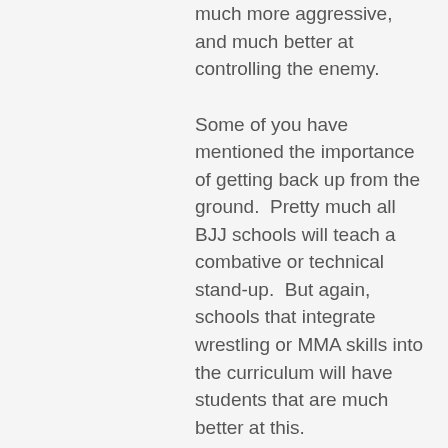much more aggressive, and much better at controlling the enemy.
Some of you have mentioned the importance of getting back up from the ground.  Pretty much all BJJ schools will teach a combative or technical stand-up.  But again, schools that integrate wrestling or MMA skills into the curriculum will have students that are much better at this.
Some of you have mentioned the problem of a ground fight stretching on for a long period of time.  Keep in mind that the BJJ arsenal does include chokeholds and neck cranks that can finish a fight very quickly.  Yes, there are serious legal issues to be aware of when using those techniques, but the same holds for karate bunkai that incorporates chokeholds or neck cranks.  So the goal is not to hang out on the ground for a long time, but for the average student to finish the fight on the ground and get away.
Lastly, I'll mention that even though you see a lot of